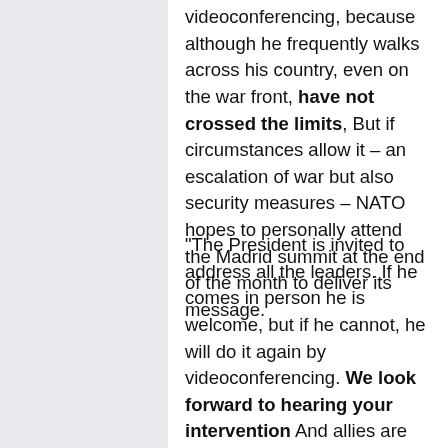videoconferencing, because although he frequently walks across his country, even on the war front, have not crossed the limits, But if circumstances allow it – an escalation of war but also security measures – NATO hopes to personally attend the Madrid summit at the end of the month to deliver its message.
“The President is invited to address all the leaders. If he comes in person he is welcome, but if he cannot, he will do it again by videoconferencing. We look forward to hearing your intervention And allies are very committed to showing their support and solidarity not only with words but also with deeds. The President already spoke to us at the last summit